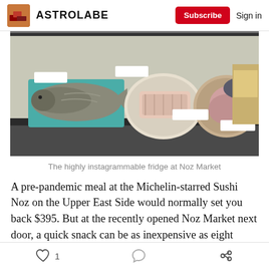ASTROLABE  Subscribe  Sign in
[Figure (photo): Fish and seafood displayed in a refrigerated market case with price tags, seen through glass at Noz Market]
The highly instagrammable fridge at Noz Market
A pre-pandemic meal at the Michelin-starred Sushi Noz on the Upper East Side would normally set you back $395. But at the recently opened Noz Market next door, a quick snack can be as inexpensive as eight bucks.
With indoor dining prohibited in New York City
1  [comment]  [share]